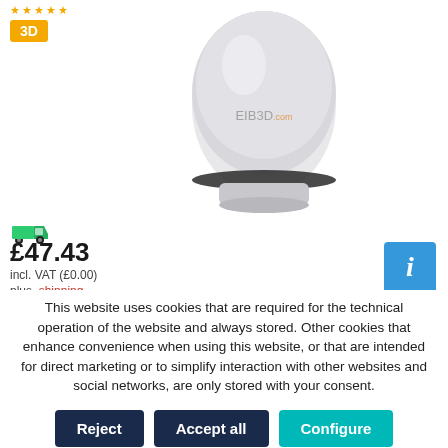[Figure (photo): Product photo of a white dome-shaped device with EIB3D.com branding, on a white background. A yellow '3D' badge is shown in the top left with star rating above it. A green truck icon is shown below left.]
£47.43
incl. VAT (£0.00)
plus shipping
(£71.11 RRP***)
This website uses cookies that are required for the technical operation of the website and always stored. Other cookies that enhance convenience when using this website, or that are intended for direct marketing or to simplify interaction with other websites and social networks, are only stored with your consent.
Reject | Accept all | Configure